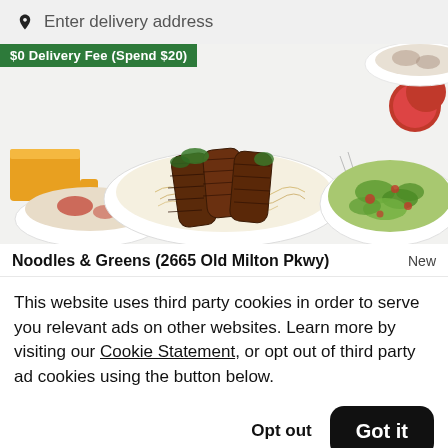Enter delivery address
[Figure (photo): Food photography showing grilled steak over noodles, a salad bowl, tomatoes, cheese, and a rice dish with a $0 Delivery Fee (Spend $20) promo banner]
Noodles & Greens (2665 Old Milton Pkwy)  New
This website uses third party cookies in order to serve you relevant ads on other websites. Learn more by visiting our Cookie Statement, or opt out of third party ad cookies using the button below.
Opt out
Got it